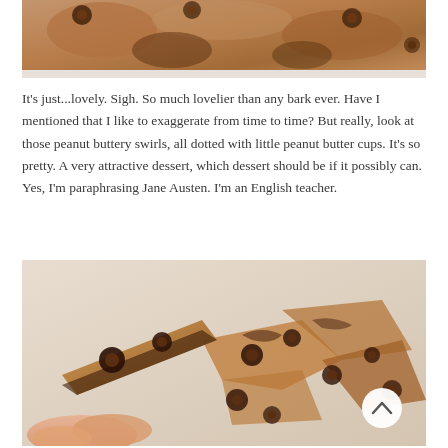[Figure (photo): Partial view of chocolate peanut butter bark pieces with peanut butter cups on a light background, cropped at the top of the page.]
It's just...lovely. Sigh. So much lovelier than any bark ever. Have I mentioned that I like to exaggerate from time to time? But really, look at those peanut buttery swirls, all dotted with little peanut butter cups. It's so pretty. A very attractive dessert, which dessert should be if it possibly can. Yes, I'm paraphrasing Jane Austen. I'm an English teacher.
[Figure (photo): Close-up photo of a hand holding a piece of peanut butter chocolate bark with peanut butter cups embedded in it, with more bark pieces visible in the background. A white circular scroll-up button with a chevron is overlaid in the lower right area.]